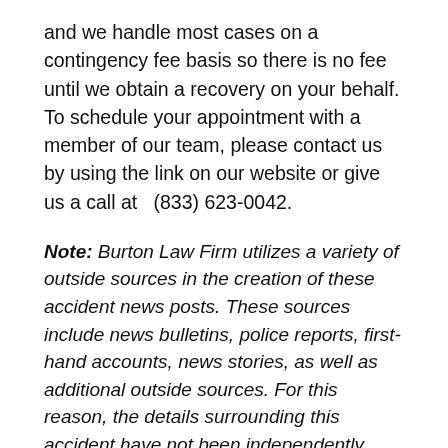and we handle most cases on a contingency fee basis so there is no fee until we obtain a recovery on your behalf. To schedule your appointment with a member of our team, please contact us by using the link on our website or give us a call at  (833) 623-0042.
Note: Burton Law Firm utilizes a variety of outside sources in the creation of these accident news posts. These sources include news bulletins, police reports, first-hand accounts, news stories, as well as additional outside sources. For this reason, the details surrounding this accident have not been independently verified by our office or writing staff. If you find information that is not correct about an accident that we have written about, please contact our firm as soon as possible so that we can promptly correct the information. If you would prefer that we remove the story, contact us